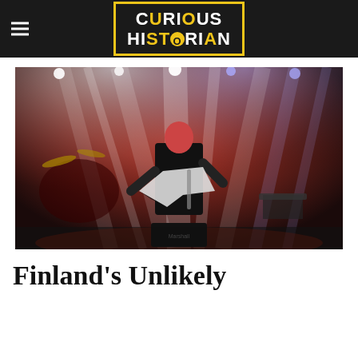Curious Historian
[Figure (photo): A metal guitarist performing on stage with dramatic red and white stage lighting, playing a V-shaped guitar, with drum kit visible in background and Marshall amplifier in foreground.]
Finland's Unlikely